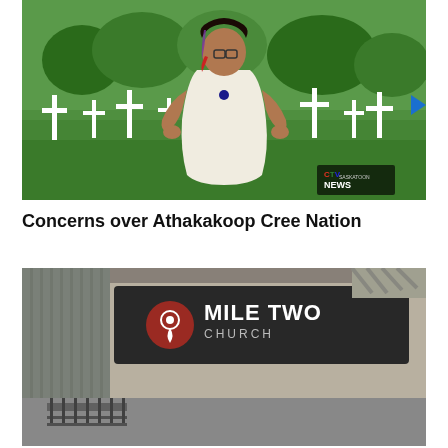[Figure (photo): Video thumbnail showing a woman with glasses and colorful hair standing in front of white cemetery crosses in a green field. CTV News Saskatoon logo visible in bottom right corner. A blue play button arrow appears on the right edge.]
Concerns over Athakakoop Cree Nation
[Figure (photo): Photo of a building exterior showing a dark sign with 'MILE TWO CHURCH' text and a red circular location pin icon. Metal/corrugated wall visible.]